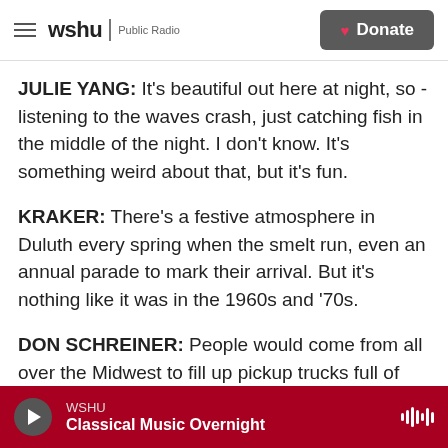wshu | Public Radio   Donate
JULIE YANG: It's beautiful out here at night, so - listening to the waves crash, just catching fish in the middle of the night. I don't know. It's something weird about that, but it's fun.
KRAKER: There's a festive atmosphere in Duluth every spring when the smelt run, even an annual parade to mark their arrival. But it's nothing like it was in the 1960s and '70s.
DON SCHREINER: People would come from all over the Midwest to fill up pickup trucks full of smelt at the time.
WSHU   Classical Music Overnight